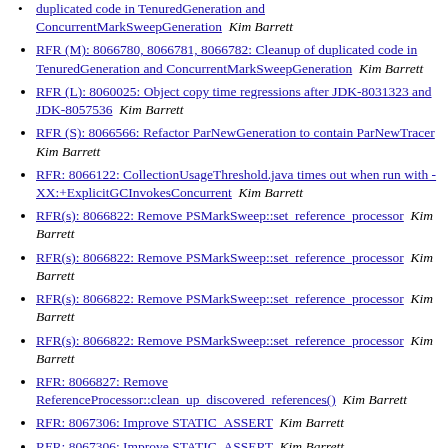duplicated code in TenuredGeneration and ConcurrentMarkSweepGeneration  Kim Barrett
RFR (M): 8066780, 8066781, 8066782: Cleanup of duplicated code in TenuredGeneration and ConcurrentMarkSweepGeneration  Kim Barrett
RFR (L): 8060025: Object copy time regressions after JDK-8031323 and JDK-8057536  Kim Barrett
RFR (S): 8066566: Refactor ParNewGeneration to contain ParNewTracer  Kim Barrett
RFR: 8066122: CollectionUsageThreshold.java times out when run with -XX:+ExplicitGCInvokesConcurrent  Kim Barrett
RFR(s): 8066822: Remove PSMarkSweep::set_reference_processor  Kim Barrett
RFR(s): 8066822: Remove PSMarkSweep::set_reference_processor  Kim Barrett
RFR(s): 8066822: Remove PSMarkSweep::set_reference_processor  Kim Barrett
RFR(s): 8066822: Remove PSMarkSweep::set_reference_processor  Kim Barrett
RFR: 8066827: Remove ReferenceProcessor::clean_up_discovered_references()  Kim Barrett
RFR: 8067306: Improve STATIC_ASSERT  Kim Barrett
RFR: 8067306: Improve STATIC_ASSERT  Kim Barrett
RFR: 8067306: Improve STATIC_ASSERT  Kim Barrett